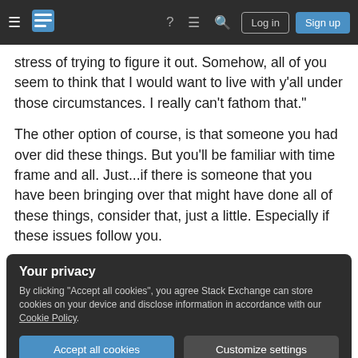Stack Exchange navigation bar with hamburger menu, logo, help, chat, search, Log in, Sign up buttons
stress of trying to figure it out. Somehow, all of you seem to think that I would want to live with y'all under those circumstances. I really can't fathom that."
The other option of course, is that someone you had over did these things. But you'll be familiar with time frame and all. Just...if there is someone that you have been bringing over that might have done all of these things, consider that, just a little. Especially if these issues follow you.
Your privacy
By clicking "Accept all cookies", you agree Stack Exchange can store cookies on your device and disclose information in accordance with our Cookie Policy.
Accept all cookies   Customize settings
2,000 ●7 ●9